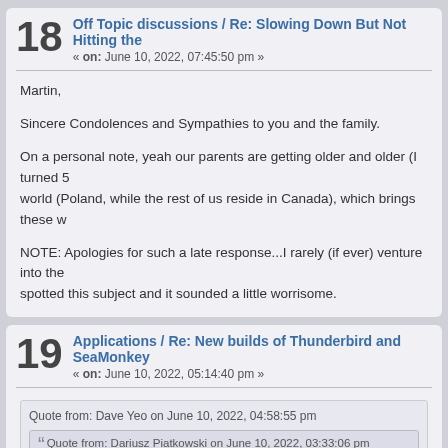18 Off Topic discussions / Re: Slowing Down But Not Hitting the
« on: June 10, 2022, 07:45:50 pm »
Martin,

Sincere Condolences and Sympathies to you and the family.

On a personal note, yeah our parents are getting older and older (I turned 5 world (Poland, while the rest of us reside in Canada), which brings these w

NOTE: Apologies for such a late response...I rarely (if ever) venture into the spotted this subject and it sounded a little worrisome.
19 Applications / Re: New builds of Thunderbird and SeaMonkey
« on: June 10, 2022, 05:14:40 pm »
Quote from: Dave Yeo on June 10, 2022, 04:58:55 pm
Quote from: Dariusz Piatkowski on June 10, 2022, 03:33:06 pm
Hi Dave!
Quote from: Dave Yeo on June 10, 2022, 06:39:03 am